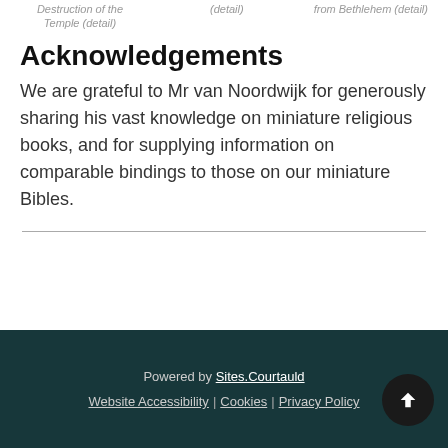Destruction of the Temple (detail)   (detail)   from Bethlehem (detail)
Acknowledgements
We are grateful to Mr van Noordwijk for generously sharing his vast knowledge on miniature religious books, and for supplying information on comparable bindings to those on our miniature Bibles.
Powered by Sites.Courtauld | Website Accessibility | Cookies | Privacy Policy